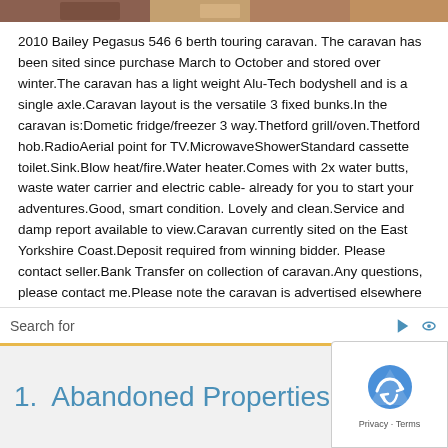[Figure (photo): Partial photo bar at top of page showing a caravan or outdoor scene]
2010 Bailey Pegasus 546 6 berth touring caravan. The caravan has been sited since purchase March to October and stored over winter.The caravan has a light weight Alu-Tech bodyshell and is a single axle.Caravan layout is the versatile 3 fixed bunks.In the caravan is:Dometic fridge/freezer 3 way.Thetford grill/oven.Thetford hob.RadioAerial point for TV.MicrowaveShowerStandard cassette toilet.Sink.Blow heat/fire.Water heater.Comes with 2x water butts, waste water carrier and electric cable- already for you to start your adventures.Good, smart condition. Lovely and clean.Service and damp report available to view.Caravan currently sited on the East Yorkshire Coast.Deposit required from winning bidder. Please contact seller.Bank Transfer on collection of caravan.Any questions, please contact me.Please note the caravan is advertised elsewhere and auction may end early if it sells
Search for
1.  Abandoned Properties for Sale